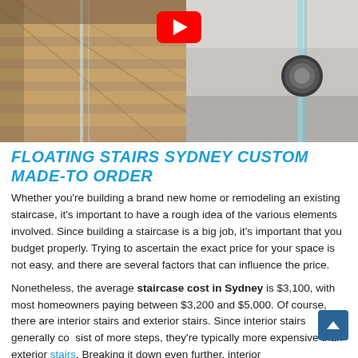[Figure (photo): Hero image showing floating timber stairs with glass balustrade on the left side, and a close-up of a glass balustrade fitting on the right side, with a YouTube play button overlay at the top center.]
FLOATING STAIRS SYDNEY CUSTOM MADE-TO ORDER
Whether you’re building a brand new home or remodeling an existing staircase, it’s important to have a rough idea of the various elements involved. Since building a staircase is a big job, it’s important that you budget properly. Trying to ascertain the exact price for your space is not easy, and there are several factors that can influence the price.
Nonetheless, the average staircase cost in Sydney is $3,100, with most homeowners paying between $3,200 and $5,000. Of course, there are interior stairs and exterior stairs. Since interior stairs generally consist of more steps, they’re typically more expensive than exterior stairs. Breaking it down even further, interior